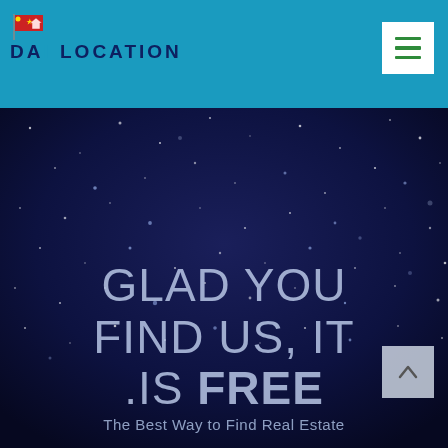[Figure (logo): DaiLocation logo with red flag icon and blue text on teal header bar]
[Figure (screenshot): Website screenshot showing dark blue starry night sky background hero section with text 'GLAD YOU FIND US, IT IS FREE' and subtitle 'The Best Way to Find Real Estate']